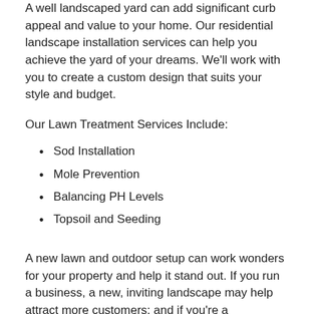A well landscaped yard can add significant curb appeal and value to your home. Our residential landscape installation services can help you achieve the yard of your dreams. We'll work with you to create a custom design that suits your style and budget.
Our Lawn Treatment Services Include:
Sod Installation
Mole Prevention
Balancing PH Levels
Topsoil and Seeding
A new lawn and outdoor setup can work wonders for your property and help it stand out. If you run a business, a new, inviting landscape may help attract more customers; and if you're a homeowner looking to sell, our landscaping services may be just the thing to set your property apart from the competition. No matter the size or layout of your space, we can provide